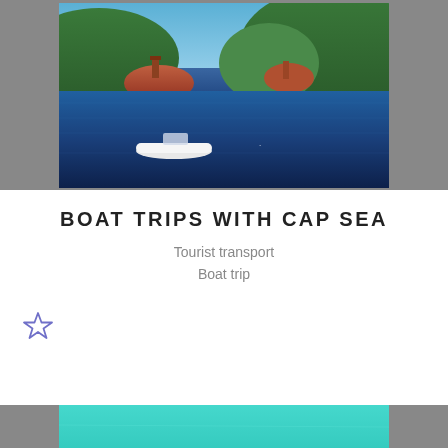[Figure (photo): Boat on deep blue sea with red rocky island and green hills in background under blue sky]
BOAT TRIPS WITH CAP SEA
Tourist transport
Boat trip
[Figure (photo): Person snorkeling in clear turquoise water with fish visible below the surface]